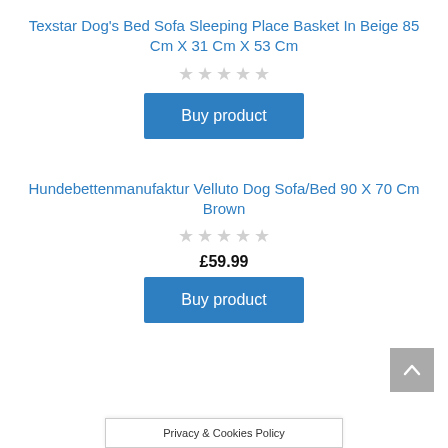Texstar Dog's Bed Sofa Sleeping Place Basket In Beige 85 Cm X 31 Cm X 53 Cm
[Figure (other): Five empty star rating icons (grey)]
Buy product
Hundebettenmanufaktur Velluto Dog Sofa/Bed 90 X 70 Cm Brown
[Figure (other): Five empty star rating icons (grey)]
£59.99
Buy product
Privacy & Cookies Policy